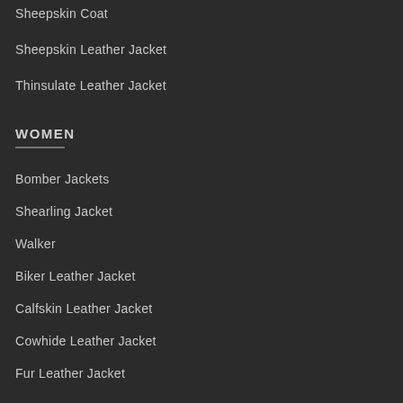Sheepskin Coat
Sheepskin Leather Jacket
Thinsulate Leather Jacket
WOMEN
Bomber Jackets
Shearling Jacket
Walker
Biker Leather Jacket
Calfskin Leather Jacket
Cowhide Leather Jacket
Fur Leather Jacket
Goat Skin Leather Jacket
Lambskin Leather Jacket
Biker Jacket